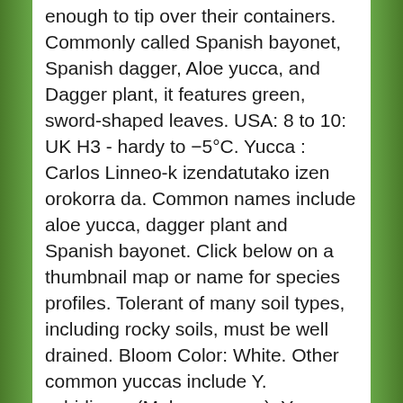enough to tip over their containers. Commonly called Spanish bayonet, Spanish dagger, Aloe yucca, and Dagger plant, it features green, sword-shaped leaves. USA: 8 to 10: UK H3 - hardy to −5°C. Yucca : Carlos Linneo-k izendatutako izen orokorra da. Common names include aloe yucca, dagger plant and Spanish bayonet. Click below on a thumbnail map or name for species profiles. Tolerant of many soil types, including rocky soils, must be well drained. Bloom Color: White. Other common yuccas include Y. schidigera (Mohave yucca), Yucca glauca (soapweed yucca), Yucca elephantipes or Yucca gigantea (spineless yucca), and Yucca brevifolia (Joshua tree), which grows to 20 m in height and is commonly f… Common Name: Aloe Yucca, Spanish Bayonet, Spanish Dagger. Common Fig Ficus carica 11663 Hydrangea spp. Die Pflanzen können auf einem